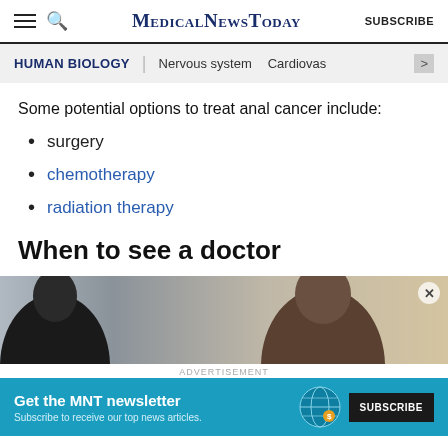MedicalNewsToday | SUBSCRIBE
HUMAN BIOLOGY | Nervous system | Cardiovas
Some potential options to treat anal cancer include:
surgery
chemotherapy
radiation therapy
When to see a doctor
[Figure (photo): Two people in a medical setting — a doctor and a patient]
ADVERTISEMENT
Get the MNT newsletter — Subscribe to receive our top news articles. SUBSCRIBE